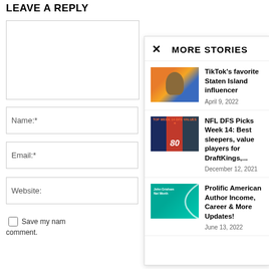LEAVE A REPLY
Comment:
Name:*
Email:*
Website:
Save my nam comment.
MORE STORIES
TikTok's favorite Staten Island influencer
April 9, 2022
NFL DFS Picks Week 14: Best sleepers, value players for DraftKings,...
December 12, 2021
Prolific American Author Income, Career & More Updates!
June 13, 2022